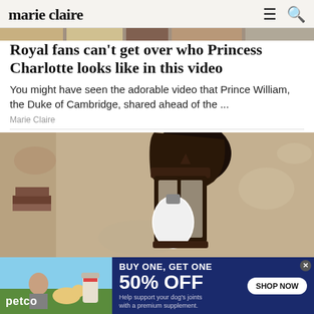marie claire
[Figure (screenshot): Partial image strip at top of article showing a cropped photo]
Royal fans can't get over who Princess Charlotte looks like in this video
You might have seen the adorable video that Prince William, the Duke of Cambridge, shared ahead of the ...
Marie Claire
[Figure (photo): Close-up photo of a dark bronze outdoor wall lantern mounted on a rough stucco wall, with a white globe bulb visible inside the lantern housing]
[Figure (screenshot): Petco advertisement banner showing woman with a golden retriever and supplement product. Text: BUY ONE, GET ONE 50% OFF. Help support your dog's joints with a premium supplement. SHOP NOW button.]